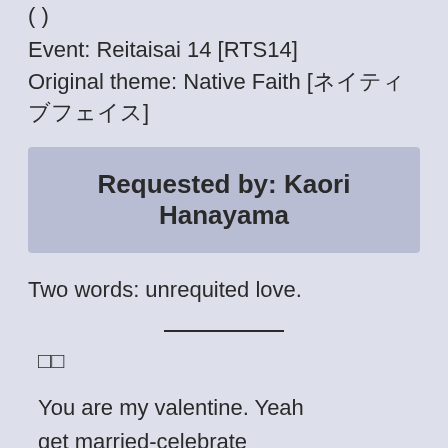( )
Event: Reitaisai 14 [RTS14]
Original theme: Native Faith [ネイティブフェイス]
Requested by: Kaori Hanayama
Two words: unrequited love.
□□
You are my valentine. Yeah
get married-celebrate
you are my everything.
don't you know? don't you think?